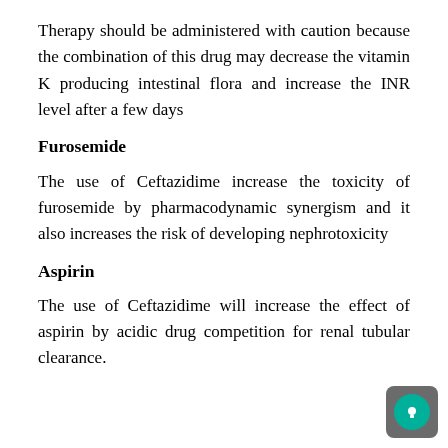Therapy should be administered with caution because the combination of this drug may decrease the vitamin K producing intestinal flora and increase the INR level after a few days
Furosemide
The use of Ceftazidime increase the toxicity of furosemide by pharmacodynamic synergism and it also increases the risk of developing nephrotoxicity
Aspirin
The use of Ceftazidime will increase the effect of aspirin by acidic drug competition for renal tubular clearance.